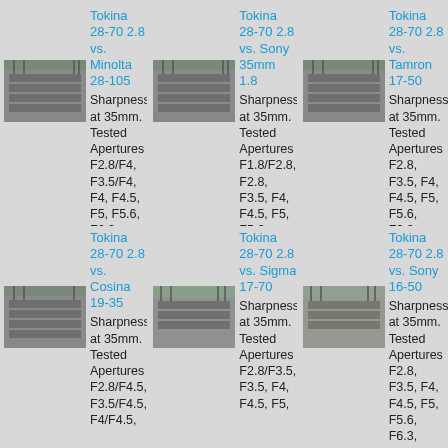Tokina 28-70 2.8 vs. Minolta 28-105
Sharpness at 35mm. Tested Apertures F2.8/F4, F3.5/F4, F4, F4.5, F5, F5.6, F6.3, F7.1, F8
[Figure (photo): Thumbnail photo of apartment building with bare trees, grayscale]
Tokina 28-70 2.8 vs. Sony 35mm 1.8
Sharpness at 35mm. Tested Apertures F1.8/F2.8, F2.8, F3.5, F4, F4.5, F5, F5.6, F6.3, F7.1, F8
[Figure (photo): Thumbnail photo of apartment building with bare trees, grayscale]
Tokina 28-70 2.8 vs. Tamron 17-50
Sharpness at 35mm. Tested Apertures F2.8, F3.5, F4, F4.5, F5, F5.6, F6.3, F7.1, F8
[Figure (photo): Thumbnail photo of apartment building with bare trees, grayscale]
Tokina 28-70 2.8 vs. Cosina 19-35
Sharpness at 35mm. Tested Apertures F2.8/F4.5, F3.5/F4.5, F4/F4.5,
[Figure (photo): Thumbnail photo of apartment building with bare trees, grayscale]
Tokina 28-70 2.8 vs. Sigma 17-70
Sharpness at 35mm. Tested Apertures F2.8/F3.5, F3.5, F4, F4.5, F5,
[Figure (photo): Thumbnail photo of apartment building with bare trees, grayscale]
Tokina 28-70 2.8 vs. Sony 16-50
Sharpness at 35mm. Tested Apertures F2.8, F3.5, F4, F4.5, F5, F5.6, F6.3,
[Figure (photo): Thumbnail photo of apartment building with bare trees, grayscale]